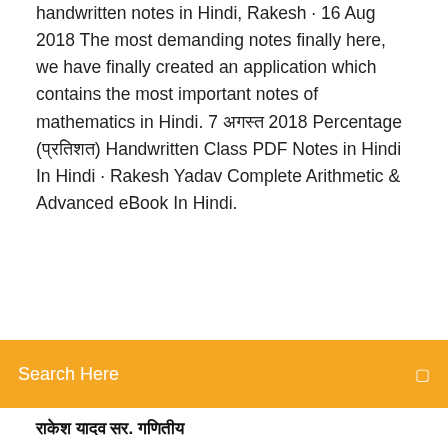handwritten notes in Hindi, Rakesh · 16 Aug 2018 The most demanding notes finally here, we have finally created an application which contains the most important notes of mathematics in Hindi. 7 अगस्त 2018 Percentage (प्रतिशत) Handwritten Class PDF Notes in Hindi In Hindi · Rakesh Yadav Complete Arithmetic & Advanced eBook In Hindi.
Search Here
राकेश यादव सर. गणितीय
16 Aug 2018 The most demanding notes finally here, we have finally created an application which contains the most important notes of mathematics in Hindi. 7 अगस्त 2018 Percentage (प्रतिशत) Handwritten Class PDF Notes in Hindi In Hindi · Rakesh Yadav Complete Arithmetic & Advanced eBook In Hindi. 21 Dec 2017 AVERAGE COMPLETE VIDEO[ RAKESH YADAV CLASS NOTES BOOKS VIDEO SOLUTION]ALL QUESTION IN ONE VIDEO SSC CGL||  6 Feb 2018 MENSURATION[ 3 D] COMPLETE